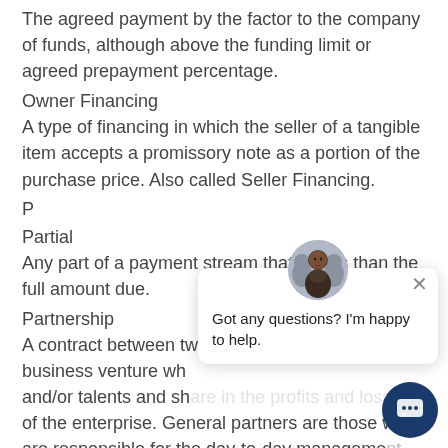The agreed payment by the factor to the company of funds, although above the funding limit or agreed prepayment percentage.
Owner Financing
A type of financing in which the seller of a tangible item accepts a promissory note as a portion of the purchase price. Also called Seller Financing.
P
Partial
Any part of a payment stream that is less than the full amount due.
Partnership
A contract between two or more persons in a business venture who contribute money, property and/or talents and share in the profits and losses of the enterprise. General partners are those who are responsible for the day-to-day management activities, whose individual acts are binding on all the partners, and who are personally responsible